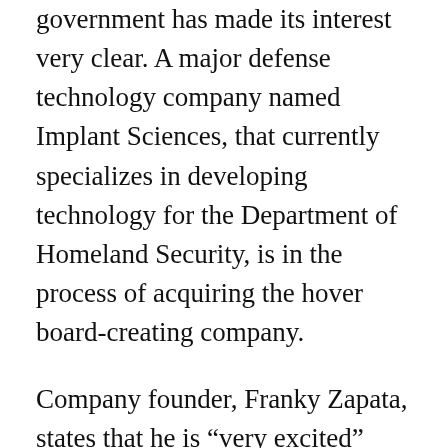government has made its interest very clear. A major defense technology company named Implant Sciences, that currently specializes in developing technology for the Department of Homeland Security, is in the process of acquiring the hover board-creating company.
Company founder, Franky Zapata, states that he is “very excited” about the contact the company has had with the United States Army and Implant Sciences. The company currently boasts the the world’s farthest hover board flight record. This amazing personal flight system is unlike the clunky and awkward water powered jet packs